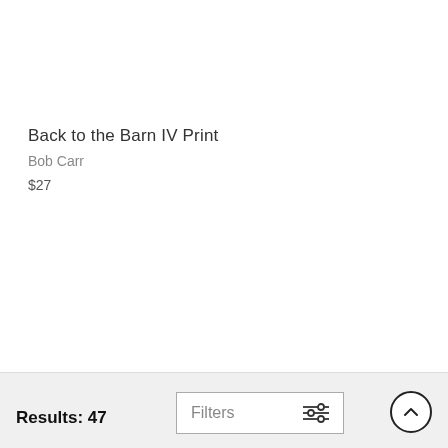Back to the Barn IV Print
Bob Carr
$27
Results: 47  Filters  [scroll-to-top button]